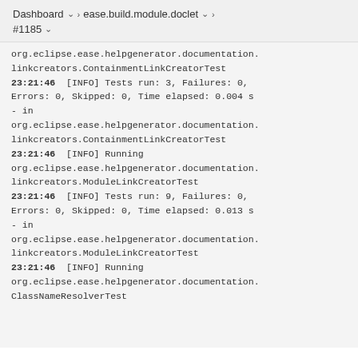Dashboard > ease.build.module.doclet > #1185
org.eclipse.ease.helpgenerator.documentation.linkcreators.ContainmentLinkCreatorTest
23:21:46  [INFO] Tests run: 3, Failures: 0, Errors: 0, Skipped: 0, Time elapsed: 0.004 s - in org.eclipse.ease.helpgenerator.documentation.linkcreators.ContainmentLinkCreatorTest
23:21:46  [INFO] Running org.eclipse.ease.helpgenerator.documentation.linkcreators.ModuleLinkCreatorTest
23:21:46  [INFO] Tests run: 9, Failures: 0, Errors: 0, Skipped: 0, Time elapsed: 0.013 s - in org.eclipse.ease.helpgenerator.documentation.linkcreators.ModuleLinkCreatorTest
23:21:46  [INFO] Running org.eclipse.ease.helpgenerator.documentation.ClassNameResolverTest